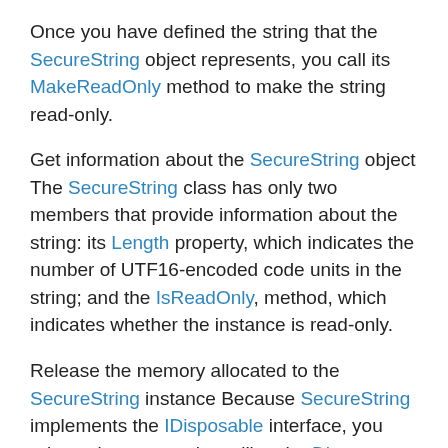Once you have defined the string that the SecureString object represents, you call its MakeReadOnly method to make the string read-only.
Get information about the SecureString object The SecureString class has only two members that provide information about the string: its Length property, which indicates the number of UTF16-encoded code units in the string; and the IsReadOnly, method, which indicates whether the instance is read-only.
Release the memory allocated to the SecureString instance Because SecureString implements the IDisposable interface, you release its memory by calling the Dispose method.
The SecureString class has no members that inspect, compare, or convert the value of a SecureString. The absence of such members helps protect the value of the instance from accidental or malicious exposure. Use